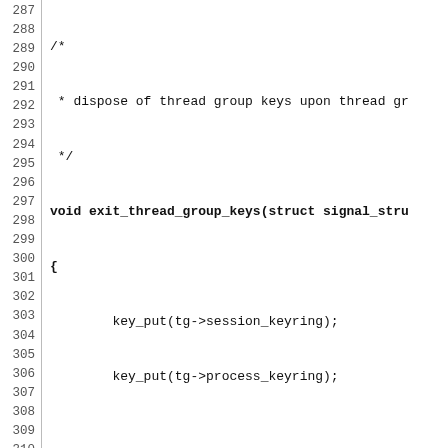[Figure (other): Source code listing (C language) showing line numbers 287–316 with functions exit_thread_group_keys, exit_keys, and beginning of exec_keys]